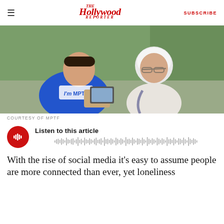The Hollywood Reporter | SUBSCRIBE
[Figure (photo): A young man in a blue MPTF t-shirt showing a tablet device to an elderly woman with white hair and glasses, both looking down at the screen, outdoors with greenery in background.]
COURTESY OF MPTF
Listen to this article
With the rise of social media it’s easy to assume people are more connected than ever, yet loneliness